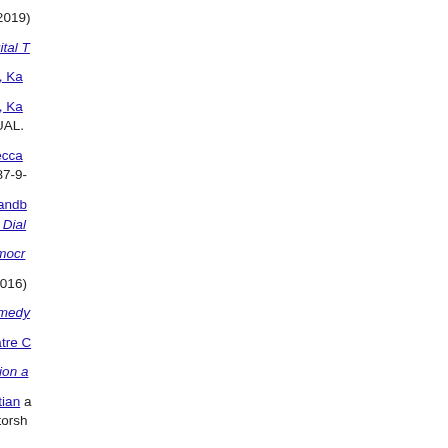Potter, Cher and Candy, Stuart (2019)
Potter, Cher (2016) Afrobots: Digital T...
Politowicz, Kay and Goldsworthy, Ka...
Politowicz, Kay and Goldsworthy, Ka... 2016 Conference Proceedings. UAL.
Politowicz, Kay and Earley, Rebecca ... pp. 176-179. ISBN 978-0-9549587-9-
Pink, S and Catanzaro, M and Sandb... as Riverlands, Sydney through a Dial...
Pierri, Paola (2020) Creative Democr...
Pierce, Jo and Brock, Philippa (2016)
Pavelka, Michael (2011) The Comedy...
Pavelka, Michael, Propeller Theatre C...
Pavelka, Michael (2007) Production a...
Patel, Menisha and Heath, Christian ... Museum Management and Curatorsh...
Parsons, Allan (2022) Derrida, Democ... Press, Edinburgh, pp. 223-233. ISBN
Parsons, Allan (2005) The Mundane...